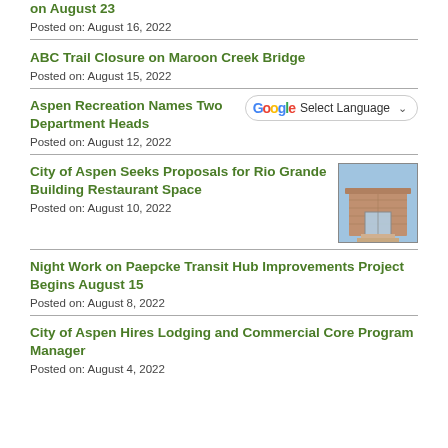on August 23
Posted on: August 16, 2022
ABC Trail Closure on Maroon Creek Bridge
Posted on: August 15, 2022
Aspen Recreation Names Two Department Heads
Posted on: August 12, 2022
City of Aspen Seeks Proposals for Rio Grande Building Restaurant Space
[Figure (photo): Exterior photo of a brick building with glass entrance]
Posted on: August 10, 2022
Night Work on Paepcke Transit Hub Improvements Project Begins August 15
Posted on: August 8, 2022
City of Aspen Hires Lodging and Commercial Core Program Manager
Posted on: August 4, 2022